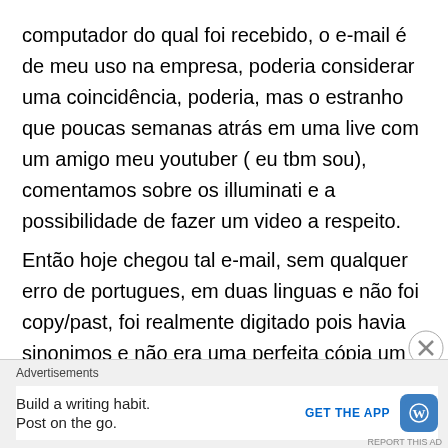computador do qual foi recebido, o e-mail é de meu uso na empresa, poderia considerar uma coincidência, poderia, mas o estranho que poucas semanas atrás em uma live com um amigo meu youtuber ( eu tbm sou), comentamos sobre os illuminati e a possibilidade de fazer um video a respeito.
Então hoje chegou tal e-mail, sem qualquer erro de portugues, em duas linguas e não foi copy/past, foi realmente digitado pois havia sinonimos e não era uma perfeita cópia um texto do outro, não me pediram dinheiro algum (ainda), um texto super cético e objetivo.
Advertisements
Build a writing habit. Post on the go. GET THE APP REPORT THIS AD